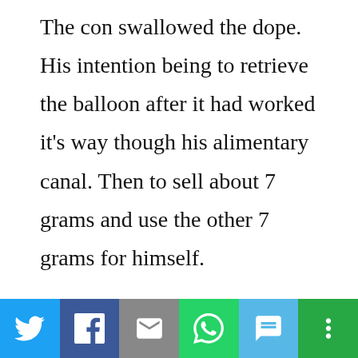The con swallowed the dope. His intention being to retrieve the balloon after it had worked it's way though his alimentary canal. Then to sell about 7 grams and use the other 7 grams for himself.

The contraband must have made it's way about halfway through this flakes gut. Then the various acids used to digest food took it's toll on the fragile balloon and it leaked the
[Figure (infographic): Social media share bar with icons for Twitter, Facebook, Email, WhatsApp, SMS, and More]